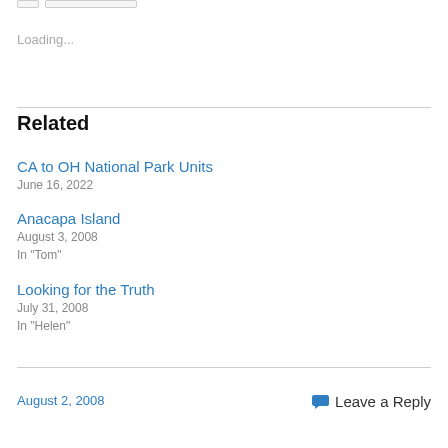Loading...
Related
CA to OH National Park Units
June 16, 2022
Anacapa Island
August 3, 2008
In "Tom"
Looking for the Truth
July 31, 2008
In "Helen"
August 2, 2008   Leave a Reply